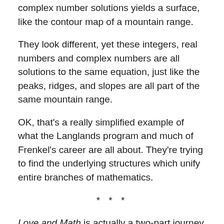complex number solutions yields a surface, like the contour map of a mountain range.
They look different, yet these integers, real numbers and complex numbers are all solutions to the same equation, just like the peaks, ridges, and slopes are all part of the same mountain range.
OK, that's a really simplified example of what the Langlands program and much of Frenkel's career are all about. They're trying to find the underlying structures which unify entire branches of mathematics.
* * *
Love and Math is actually a two-part journey, part mathematical, part autobiographical. The autobiographical journey is much easier to follow.